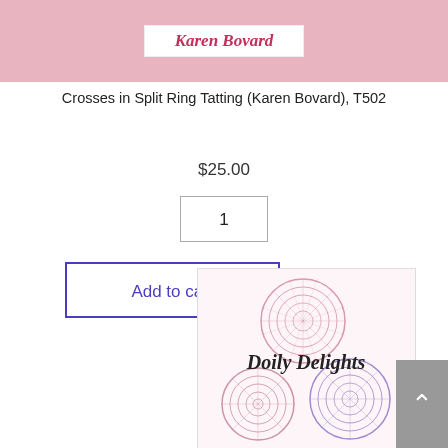[Figure (illustration): Book cover with pink background showing 'Karen Bovard' in italic bold text in a white label]
Crosses in Split Ring Tatting (Karen Bovard), T502
$25.00
1
Add to cart
[Figure (illustration): Book cover for 'Doily Delights' showing decorative tatted doilies in pink and purple on a light background]